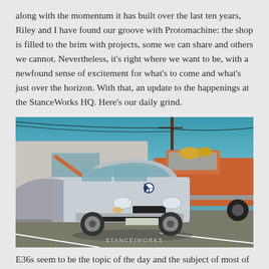along with the momentum it has built over the last ten years, Riley and I have found our groove with Protomachine: the shop is filled to the brim with projects, some we can share and others we cannot. Nevertheless, it's right where we want to be, with a newfound sense of excitement for what's to come and what's just over the horizon. With that, an update to the happenings at the StanceWorks HQ. Here's our daily grind.
[Figure (photo): A silver BMW E36 sedan parked in a lot next to an orange vintage pickup truck, with a utility pole and blue sky in the background. A StanceWorks watermark is visible at the bottom center.]
E36s seem to be the topic of the day and the subject of most of the